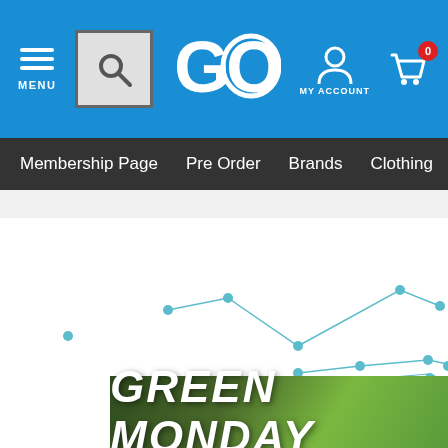[Figure (screenshot): Website header with blue background containing hamburger menu icon labeled MENU, a search box, a GO logo, MY ACCOUNT icon, and shopping cart icon with badge showing 0]
Membership Page  Pre Order  Brands  Clothing  G
[Figure (line-chart): Two line charts with teal/cyan colored dots and connecting lines on white background, showing data points connected by lines. Upper chart shows connected zigzag pattern. Lower chart shows another connected pattern partially visible.]
[Figure (screenshot): Green Monday promotional banner with italic bold white text on green gradient background]